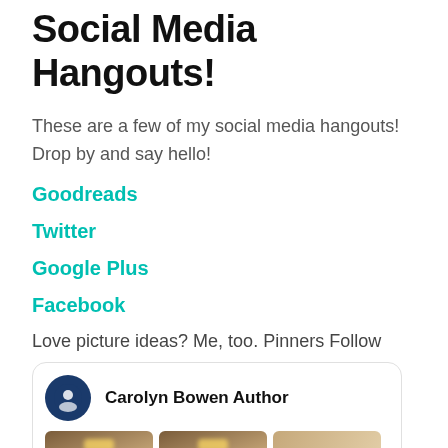Social Media Hangouts!
These are a few of my social media hangouts! Drop by and say hello!
Goodreads
Twitter
Google Plus
Facebook
Love picture ideas? Me, too.  Pinners Follow
[Figure (screenshot): Pinterest widget showing Carolyn Bowen Author profile card with avatar and three thumbnail images]